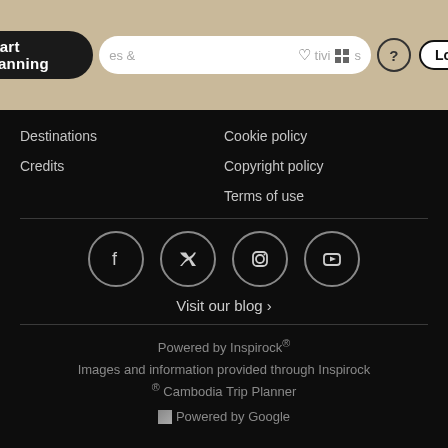[Figure (screenshot): Navigation bar with Start planning pill button, search bar with icons for saved items and activities, question mark button, and Log in button on a tan/beige background]
Destinations
Credits
Cookie policy
Copyright policy
Terms of use
[Figure (infographic): Social media icons in circles: Facebook, Twitter (X), Instagram, YouTube]
Visit our blog ›
Powered by Inspirock®
Images and information provided through Inspirock ® Cambodia Trip Planner
Powered by Google